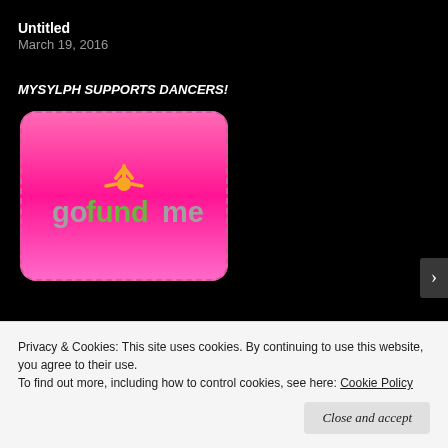Untitled
March 19, 2016
MYSYLPH SUPPORTS DANCERS!
[Figure (logo): GoFundMe logo on a pink gradient rounded rectangle with dashed border]
Privacy & Cookies: This site uses cookies. By continuing to use this website, you agree to their use.
To find out more, including how to control cookies, see here: Cookie Policy
Close and accept